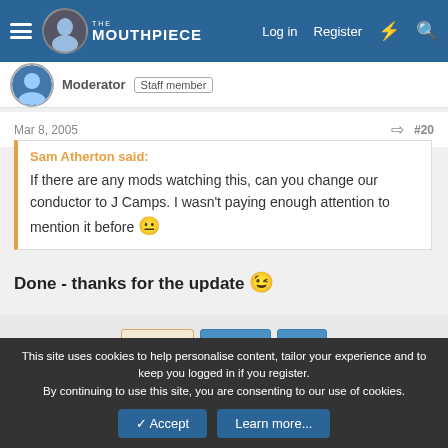The Mouthpiece | Log in | Register
Moderator  Staff member
Mar 8, 2005  #20
Sam Atherton said:
If there are any mods watching this, can you change our conductor to J Camps. I wasn't paying enough attention to mention it before 😐
Done - thanks for the update 😉
1 of 11  Next  ▶▶
You must log in or register to reply here.
This site uses cookies to help personalise content, tailor your experience and to keep you logged in if you register.
By continuing to use this site, you are consenting to our use of cookies.
Accept  Learn more...